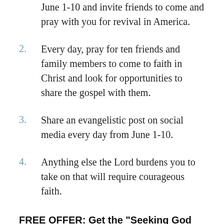June 1-10 and invite friends to come and pray with you for revival in America.
2. Every day, pray for ten friends and family members to come to faith in Christ and look for opportunities to share the gospel with them.
3. Share an evangelistic post on social media every day from June 1-10.
4. Anything else the Lord burdens you to take on that will require courageous faith.
FREE OFFER: Get the "Seeking God Lifestyle" Bible